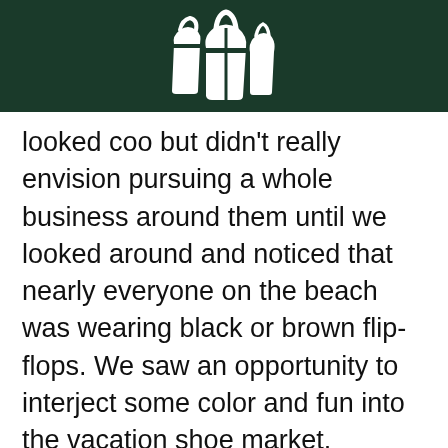[Figure (logo): White shopping bag / shoe logo on dark green background header]
looked coo but didn't really envision pursuing a whole business around them until we looked around and noticed that nearly everyone on the beach was wearing black or brown flip-flops. We saw an opportunity to interject some color and fun into the vacation shoe market.

We had this prototype of a hand-painted shoe and we took it around to everyone we knew until we started getting introduced to suppliers. Our first real samples were made with a cobbler here in San Francisco. Having